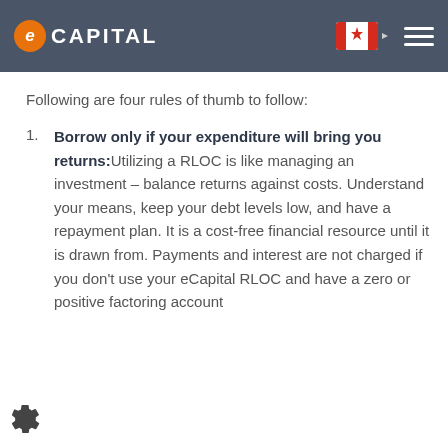eCapital
Following are four rules of thumb to follow:
Borrow only if your expenditure will bring you returns: Utilizing a RLOC is like managing an investment – balance returns against costs. Understand your means, keep your debt levels low, and have a repayment plan. It is a cost-free financial resource until it is drawn from. Payments and interest are not charged if you don't use your eCapital RLOC and have a zero or positive factoring account